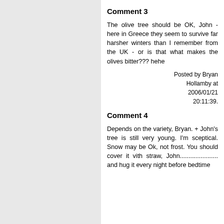Comment 3
The olive tree should be OK, John - here in Greece they seem to survive far harsher winters than I remember from the UK - or is that what makes the olives bitter??? hehe
Posted by Bryan Hollamby at 2006/01/21 20:11:39.
Comment 4
Depends on the variety, Bryan. + John's tree is still very young. I'm sceptical. Snow may be Ok, not frost. You should cover it vith straw, John..................... and hug it every night before bedtime